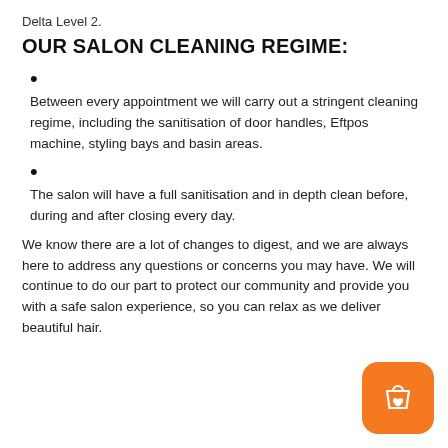Delta Level 2.
OUR SALON CLEANING REGIME:
Between every appointment we will carry out a stringent cleaning regime, including the sanitisation of door handles, Eftpos machine, styling bays and basin areas.
The salon will have a full sanitisation and in depth clean before, during and after closing every day.
We know there are a lot of changes to digest, and we are always here to address any questions or concerns you may have. We will continue to do our part to protect our community and provide you with a safe salon experience, so you can relax as we deliver beautiful hair.
[Figure (illustration): Orange rounded square button with a shopping bag and heart icon]